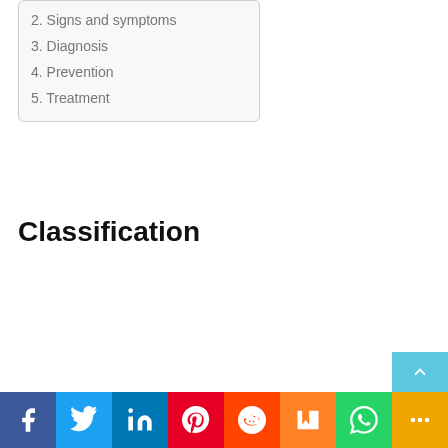2. Signs and symptoms
3. Diagnosis
4. Prevention
5. Treatment
Classification
[Figure (other): Social media sharing bar with icons: Facebook, Twitter, LinkedIn, Pinterest, Reddit, Mix, WhatsApp, More]